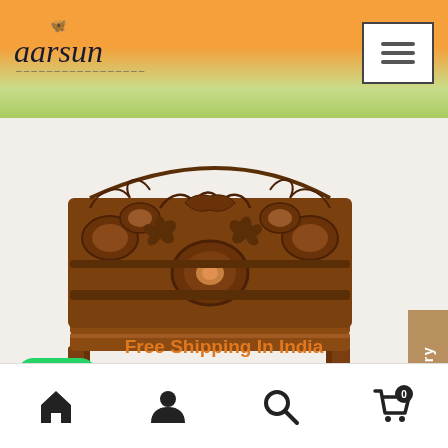aarsun — website header with logo and hamburger menu
[Figure (photo): Ornately hand-carved wooden antique style bed frame with intricate floral and scroll patterns, shown against a white background. The headboard has detailed relief carvings and the aarsun watermark is visible.]
[Figure (other): Video Gallery vertical tab on the right side]
[Figure (other): WhatsApp green rounded icon on the left]
Wooden Antique Style Bed frame BED-0021
Free Shipping In India
Bottom navigation bar with home, account, search, and cart (0) icons